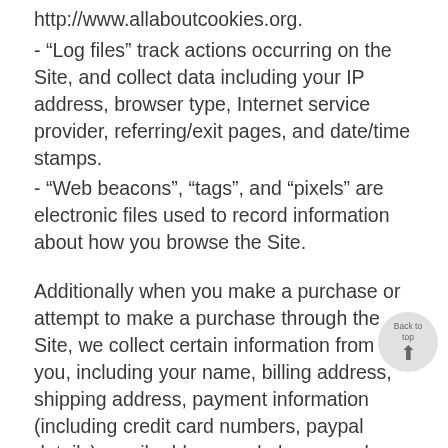http://www.allaboutcookies.org.
- “Log files” track actions occurring on the Site, and collect data including your IP address, browser type, Internet service provider, referring/exit pages, and date/time stamps.
- “Web beacons”, “tags”, and “pixels” are electronic files used to record information about how you browse the Site.
Additionally when you make a purchase or attempt to make a purchase through the Site, we collect certain information from you, including your name, billing address, shipping address, payment information (including credit card numbers, paypal details) email address and phone number. We refer to this information as “Order Information”.
When we talk about “Personal Information” in this